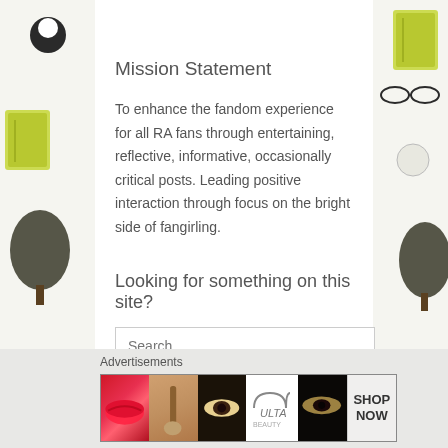[Figure (illustration): Decorative left border with illustrated items: glasses, trees, notebook, cat silhouettes, jewelry, on light background]
Mission Statement
To enhance the fandom experience for all RA fans through entertaining, reflective, informative, occasionally critical posts. Leading positive interaction through focus on the bright side of fangirling.
Looking for something on this site?
Search ...
Advertisements
[Figure (photo): Ulta Beauty advertisement banner showing makeup/beauty product images and SHOP NOW call to action]
[Figure (illustration): Decorative right border with illustrated items: glasses, trees, notebook, cat silhouettes, beauty items, on light background]